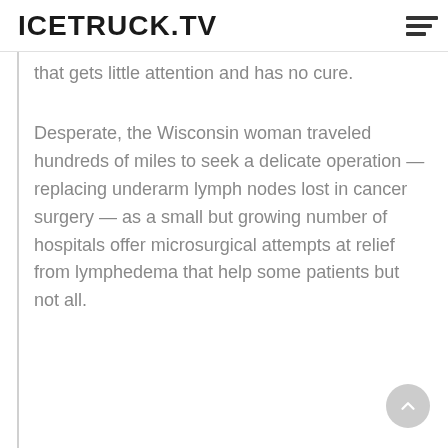ICETRUCK.TV
that gets little attention and has no cure.
Desperate, the Wisconsin woman traveled hundreds of miles to seek a delicate operation — replacing underarm lymph nodes lost in cancer surgery — as a small but growing number of hospitals offer microsurgical attempts at relief from lymphedema that help some patients but not all.